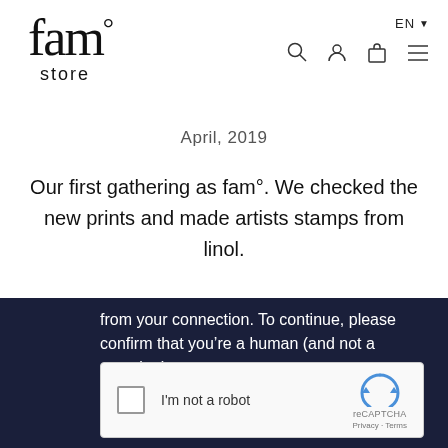fam° store — EN navigation header
April, 2019
Our first gathering as fam°. We checked the new prints and made artists stamps from linol.
from your connection. To continue, please confirm that you're a human (and not a spambot).
[Figure (screenshot): reCAPTCHA widget with checkbox labeled 'I'm not a robot' and reCAPTCHA logo with Privacy and Terms links]